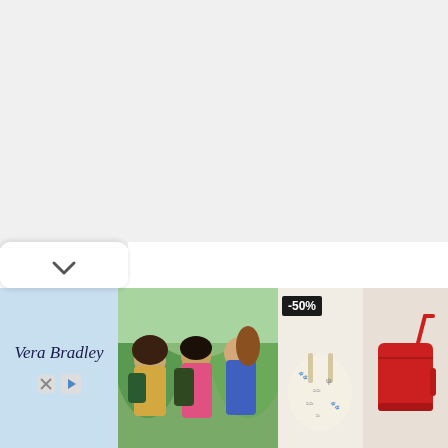[Figure (screenshot): Top-right banner with sandy/peach gradient background, blue 3D people figures icon, and white bold text reading 'Hold and Mov' (partially visible)]
[Figure (screenshot): UI collapse panel with up chevron button (expand/collapse control) on white rounded tab at top left, large white content area below]
[Figure (screenshot): UI collapse panel with down chevron button at bottom left on white rounded tab]
[Figure (screenshot): Advertisement banner for Vera Bradley showing brand name on light blue background, photo of three young women with backpacks, and product images of bags with -50% discount badge]